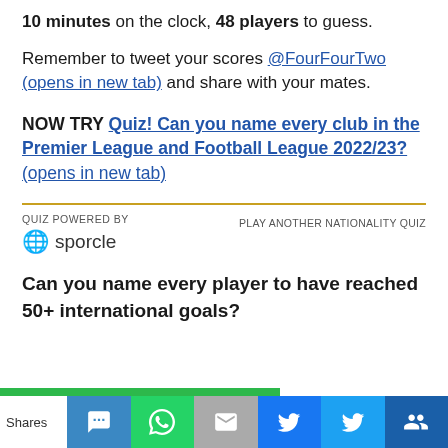10 minutes on the clock, 48 players to guess.
Remember to tweet your scores @FourFourTwo (opens in new tab) and share with your mates.
NOW TRY Quiz! Can you name every club in the Premier League and Football League 2022/23? (opens in new tab)
QUIZ POWERED BY sporcle | PLAY ANOTHER NATIONALITY QUIZ
Can you name every player to have reached 50+ international goals?
Shares